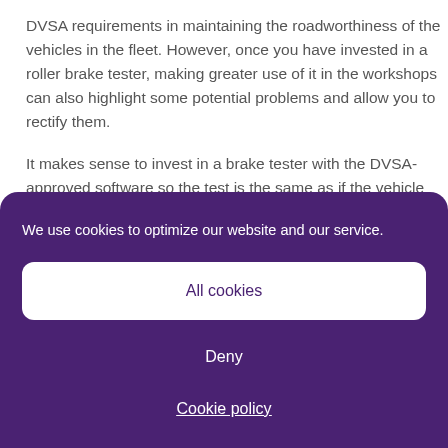DVSA requirements in maintaining the roadworthiness of the vehicles in the fleet. However, once you have invested in a roller brake tester, making greater use of it in the workshops can also highlight some potential problems and allow you to rectify them.
It makes sense to invest in a brake tester with the DVSA-approved software so the test is the same as if the vehicle was undergoing its annual test. VLT's VLT16733 HGV brake tester, for example, evaluates the vehicle brake performance and calculates the pass/fail criteria according to the latest
We use cookies to optimize our website and our service.
All cookies
Deny
Cookie policy